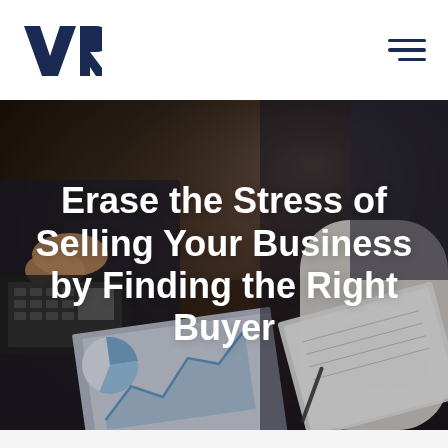[Figure (logo): VR Business Brokers logo — dark navy blue stylized letters V and R]
[Figure (photo): Two business people at a desk reviewing financial documents and charts; one person typing on a calculator, the other holding papers with charts visible]
Erase the Stress of Selling Your Business by Finding the Right Buyer